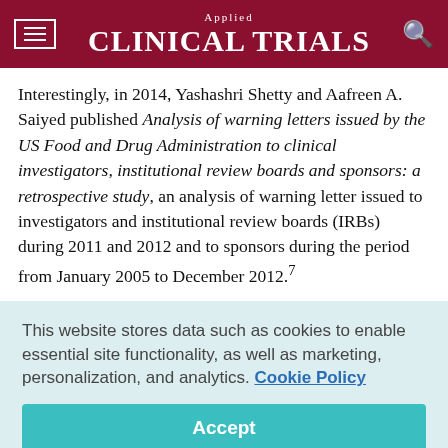Applied Clinical Trials
Interestingly, in 2014, Yashashri Shetty and Aafreen A. Saiyed published Analysis of warning letters issued by the US Food and Drug Administration to clinical investigators, institutional review boards and sponsors: a retrospective study, an analysis of warning letter issued to investigators and institutional review boards (IRBs) during 2011 and 2012 and to sponsors during the period from January 2005 to December 2012.7
This website stores data such as cookies to enable essential site functionality, as well as marketing, personalization, and analytics. Cookie Policy
Accept
Deny